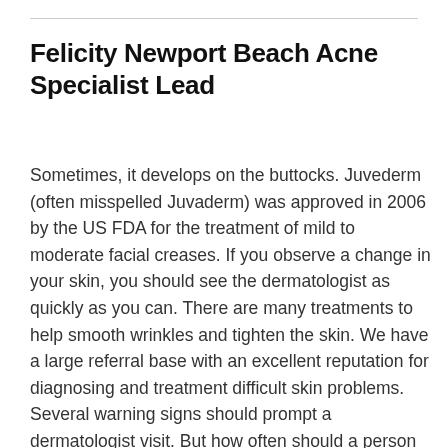Felicity Newport Beach Acne Specialist Lead
Sometimes, it develops on the buttocks. Juvederm (often misspelled Juvaderm) was approved in 2006 by the US FDA for the treatment of mild to moderate facial creases. If you observe a change in your skin, you should see the dermatologist as quickly as you can. There are many treatments to help smooth wrinkles and tighten the skin. We have a large referral base with an excellent reputation for diagnosing and treatment difficult skin problems. Several warning signs should prompt a dermatologist visit. But how often should a person schedule a dermatologist visit? Yearly